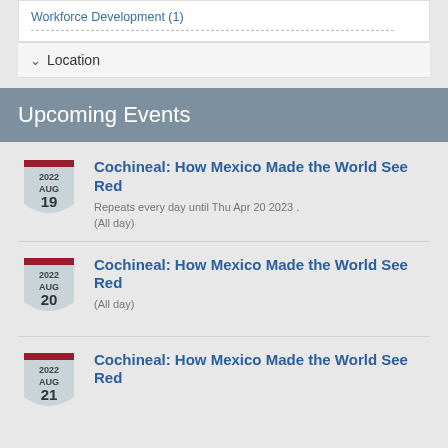Workforce Development (1)
Location
Upcoming Events
Cochineal: How Mexico Made the World See Red
Repeats every day until Thu Apr 20 2023 .
(All day)
2022 AUG 19
Cochineal: How Mexico Made the World See Red
(All day)
2022 AUG 20
Cochineal: How Mexico Made the World See Red
2022 AUG 21